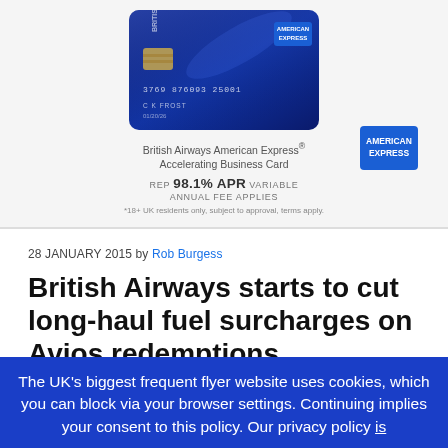[Figure (photo): British Airways American Express Accelerating Business Card image - dark blue credit card with American Express branding]
British Airways American Express® Accelerating Business Card
REP 98.1% APR VARIABLE
ANNUAL FEE APPLIES
[Figure (logo): American Express logo - blue square with white text]
*18+ UK residents only, subject to approval, terms apply.
28 JANUARY 2015 by Rob Burgess
British Airways starts to cut long-haul fuel surcharges on Avios redemptions
The UK's biggest frequent flyer website uses cookies, which you can block via your browser settings. Continuing implies your consent to this policy. Our privacy policy is